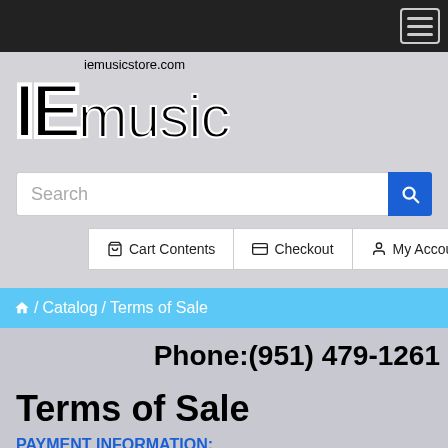IE Music Store – iemusicstore.com
[Figure (screenshot): IE Music logo with 'iemusicstore.com' text above and 'IEmusic' in large bold font]
Search
Cart Contents  Checkout  My Account
Home / Catalog / Terms of Sale
Phone:(951) 479-1261
Terms of Sale
PAYMENT INFORMATION:
All final purchases are PREPAID. Accounts created by customers on IEMusicstore are not credit accounts and do not imply an availability of credit.